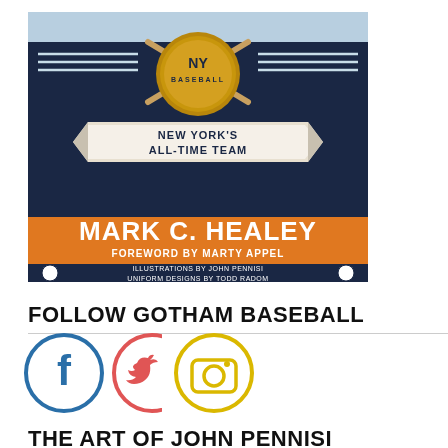[Figure (illustration): Book cover illustration for a baseball book. Dark navy blue background with orange accent colors. Features a 'NYC' medallion/seal at top center with crossed baseball bats. Text reads 'NEW YORK'S ALL-TIME TEAM' on a banner. Author name 'MARK C. HEALEY' in large orange letters. 'FOREWORD BY MARTY APPEL' below. 'ILLUSTRATIONS BY JOHN PENNISI / UNIFORM DESIGNS BY TODD RADOM' at bottom with baseball icons.]
FOLLOW GOTHAM BASEBALL
[Figure (illustration): Three social media icons in circles: Facebook (blue circle with white F), Twitter (pink/red circle with white bird), Instagram (yellow circle with camera outline).]
THE ART OF JOHN PENNISI